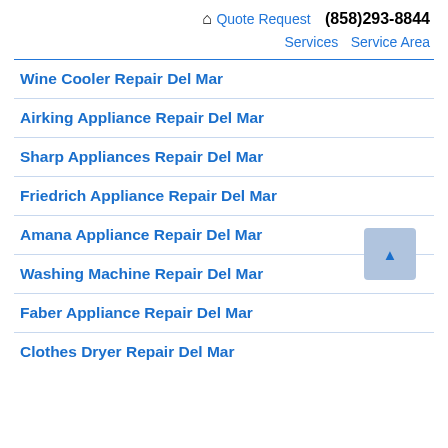🏠 Quote Request  (858)293-8844  Services  Service Area
Wine Cooler Repair Del Mar
Airking Appliance Repair Del Mar
Sharp Appliances Repair Del Mar
Friedrich Appliance Repair Del Mar
Amana Appliance Repair Del Mar
Washing Machine Repair Del Mar
Faber Appliance Repair Del Mar
Clothes Dryer Repair Del Mar